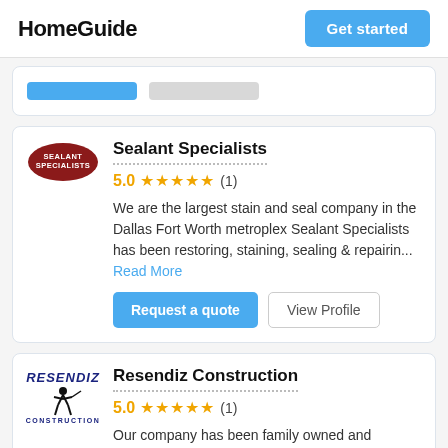HomeGuide
Sealant Specialists
5.0 ★★★★★ (1)
We are the largest stain and seal company in the Dallas Fort Worth metroplex Sealant Specialists has been restoring, staining, sealing & repairin... Read More
Resendiz Construction
5.0 ★★★★★ (1)
Our company has been family owned and operated for the last 20 years .If your looking for a quality finish for a good price , then look